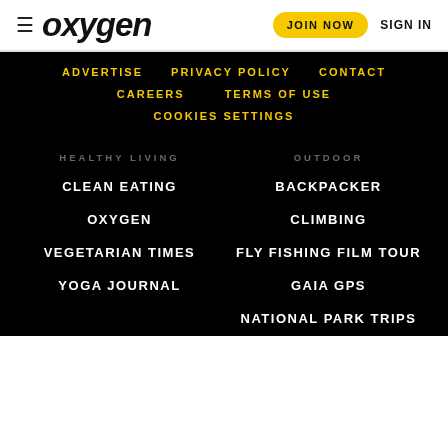≡ oxygen | JOIN NOW  SIGN IN
ADVERTISE
PRIVACY POLICY
CONTACT
CAREERS
TERMS OF USE
COOKIES SETTINGS
HEALTHY LIVING
OUTDOOR
CLEAN EATING
BACKPACKER
OXYGEN
CLIMBING
VEGETARIAN TIMES
FLY FISHING FILM TOUR
YOGA JOURNAL
GAIA GPS
NATIONAL PARK TRIPS